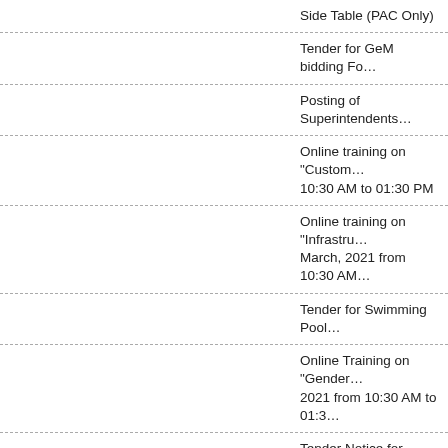Side Table (PAC Only)
Tender for GeM bidding Fo…
Posting of Superintendents…
Online training on "Custom… 10:30 AM to 01:30 PM
Online training on "Infrastr… March, 2021 from 10:30 AM…
Tender for Swimming Pool…
Online Training on "Gender… 2021 from 10:30 AM to 01:3…
Tender Notice for procurem… Air Pistols, Air pellets rifle, A…
Online training on "Planning… 10:30 AM to 05:30 PM
Online training on "Export P… February, 2021 from 10:30…
वार्षिक प्रतिवेदन 2019-20…
Tender for supplying, install…